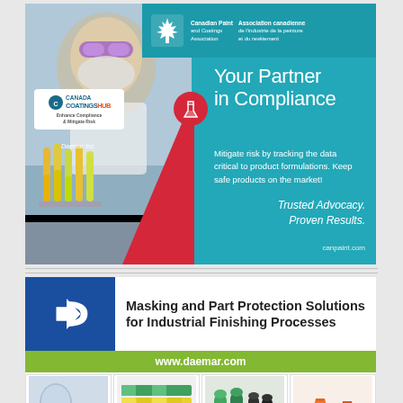[Figure (illustration): Canadian Paint and Coatings Association advertisement for CoatingsHub. Teal background with lab photo on left side. Features maple leaf logo, CPCA bilingual text, CoatingsHub logo, headline 'Your Partner in Compliance', body text about mitigating risk, tagline 'Trusted Advocacy. Proven Results.' and URL canpaint.com]
[Figure (illustration): Daemar Inc. advertisement for Masking and Part Protection Solutions for Industrial Finishing Processes. Features blue logo box with arrow/D shape, bold headline text, green URL bar with www.daemar.com, and four product photo boxes showing masking products.]